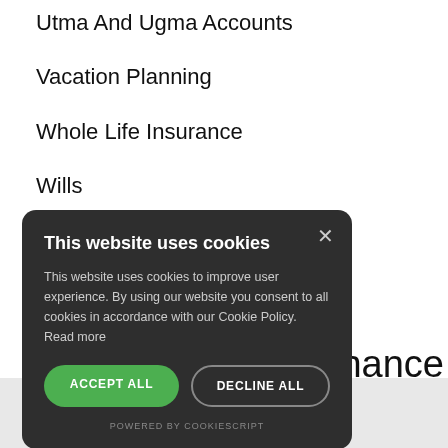Utma And Ugma Accounts
Vacation Planning
Whole Life Insurance
Wills
inance
[Figure (screenshot): Cookie consent modal dialog with dark background. Title: 'This website uses cookies'. Body text: 'This website uses cookies to improve user experience. By using our website you consent to all cookies in accordance with our Cookie Policy. Read more'. Two buttons: 'ACCEPT ALL' (green) and 'DECLINE ALL' (outlined). Footer: 'POWERED BY COOKIESCRIPT'. Close (X) button top right.]